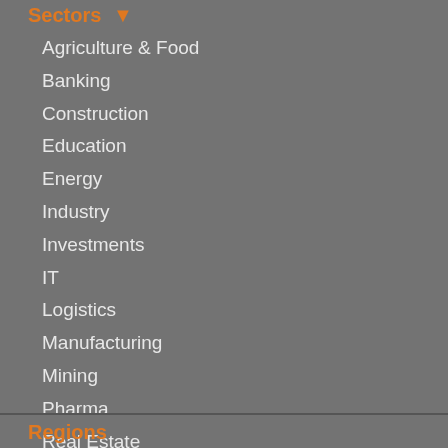Sectors
Agriculture & Food
Banking
Construction
Education
Energy
Industry
Investments
IT
Logistics
Manufacturing
Mining
Pharma
Real Estate
Retail
Services
Textile
Tourism
Telecom
Transportation
Regions